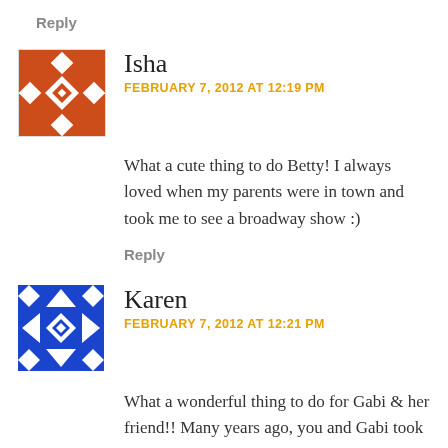Reply
[Figure (illustration): Red and white geometric patterned avatar for user Isha]
Isha
FEBRUARY 7, 2012 AT 12:19 PM
What a cute thing to do Betty! I always loved when my parents were in town and took me to see a broadway show :)
Reply
[Figure (illustration): Blue and white geometric patterned avatar for user Karen]
Karen
FEBRUARY 7, 2012 AT 12:21 PM
What a wonderful thing to do for Gabi & her friend!! Many years ago, you and Gabi took me to see Hairspray on